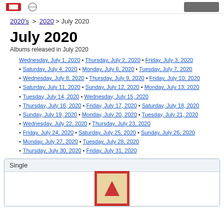Page header with logo and button
2020's > 2020 > July 2020
July 2020
Albums released in July 2020
Wednesday, July 1, 2020 • Thursday, July 2, 2020 • Friday, July 3, 2020
Saturday, July 4, 2020 • Monday, July 6, 2020 • Tuesday, July 7, 2020
Wednesday, July 8, 2020 • Thursday, July 9, 2020 • Friday, July 10, 2020
Saturday, July 11, 2020 • Sunday, July 12, 2020 • Monday, July 13, 2020
Tuesday, July 14, 2020 • Wednesday, July 15, 2020
Thursday, July 16, 2020 • Friday, July 17, 2020 • Saturday, July 18, 2020
Sunday, July 19, 2020 • Monday, July 20, 2020 • Tuesday, July 21, 2020
Wednesday, July 22, 2020 • Thursday, July 23, 2020
Friday, July 24, 2020 • Saturday, July 25, 2020 • Sunday, July 26, 2020
Monday, July 27, 2020 • Tuesday, July 28, 2020
Thursday, July 30, 2020 • Friday, July 31, 2020
Single
[Figure (illustration): Block letter A toy block image, red border with cream/tan background showing the letter A]